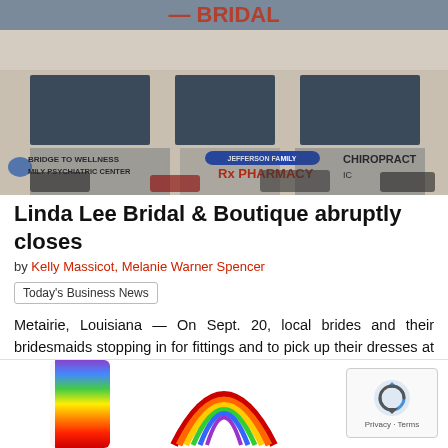[Figure (photo): Exterior of a strip mall storefront showing signs for 'Bridge to Wellness Family Psychiatric Center', 'Jefferson Family Pharmacy', and 'Chiropractic' businesses, with large windows and parked cars visible.]
Linda Lee Bridal & Boutique abruptly closes
by Kelly Massicot, Melanie Warner Spencer
Today's Business News
Metairie, Louisiana — On Sept. 20, local brides and their bridesmaids stopping in for fittings and to pick up their dresses at Linda Lee Bridal & Boutique in Metairie learned the store closed. This morning, New Orleans Bride Magazine, sister publication...
[Figure (other): Bottom strip showing partial rainbow gradient image on the left, a rainbow arch logo in the center, and a reCAPTCHA widget on the right showing 'Privacy · Terms'.]